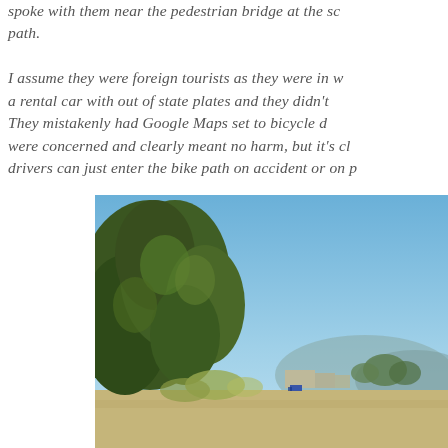spoke with them near the pedestrian bridge at the sc path. I assume they were foreign tourists as they were in w a rental car with out of state plates and they didn't They mistakenly had Google Maps set to bicycle d were concerned and clearly meant no harm, but it's cl drivers can just enter the bike path on accident or on p
[Figure (photo): Outdoor photo showing a sunny day with clear blue sky, large green trees on the left side, and a flat open area with distant trees, hills, and some small structures or buildings visible in the background.]